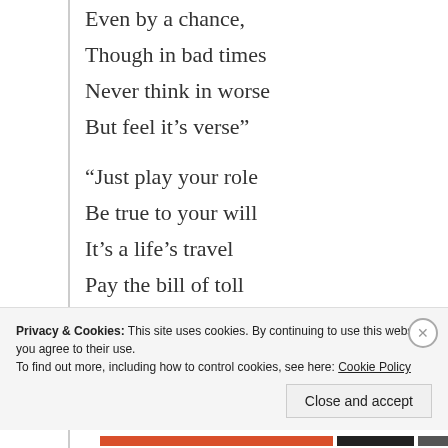Even by a chance,
Though in bad times
Never think in worse
But feel it’s verse"

“Just play your role
Be true to your will
It’s a life’s travel
Pay the bill of toll
In the journey of hell
To the heaven’s shell”
Privacy & Cookies: This site uses cookies. By continuing to use this website, you agree to their use.
To find out more, including how to control cookies, see here: Cookie Policy